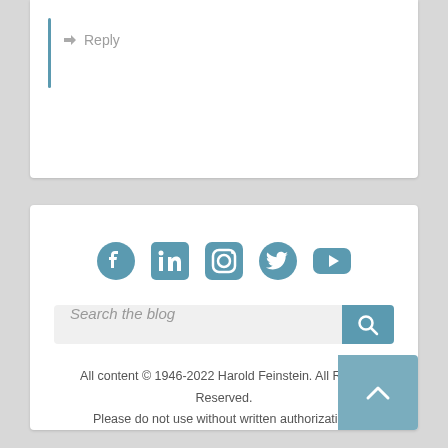↳ Reply
[Figure (infographic): Social media icons: Facebook, LinkedIn, Instagram, Twitter, YouTube in teal/blue color]
Search the blog
All content © 1946-2022 Harold Feinstein. All Rights Reserved. Please do not use without written authorization.